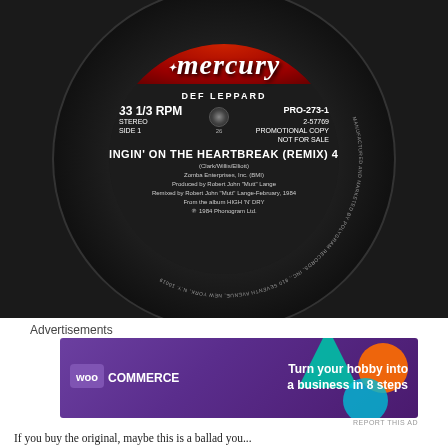[Figure (photo): Photo of a Def Leppard Mercury Records vinyl label, side 1. Shows '33 1/3 RPM STEREO SIDE 1' on left, 'PRO-273-1 2-57769 PROMOTIONAL COPY NOT FOR SALE' on right, song title 'BRINGIN' ON THE HEARTBREAK (REMIX)' with time '4:33', credits including Clark/Willis/Elliott, Zomba Enterprises BMI, produced by Robert John Mutt Lange, remixed February 1984, from album HIGH N DRY, 1984 Phonogram Ltd.]
Advertisements
[Figure (screenshot): WooCommerce advertisement banner: purple background with teal and orange geometric shapes. Text reads 'WooCommerce - Turn your hobby into a business in 8 steps']
REPORT THIS AD
If you buy the original, maybe this is a ballad you...